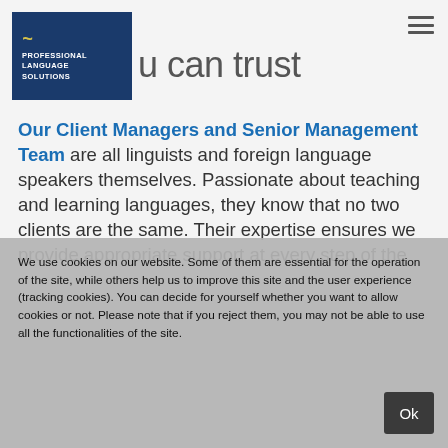[Figure (logo): Professional Language Solutions logo — dark blue box with yellow tilde and white text]
u can trust
Our Client Managers and Senior Management Team are all linguists and foreign language speakers themselves. Passionate about teaching and learning languages, they know that no two clients are the same. Their expertise ensures we provide appropriate support at every step of the
We use cookies on our website. Some of them are essential for the operation of the site, while others help us to improve this site and the user experience (tracking cookies). You can decide for yourself whether you want to allow cookies or not. Please note that if you reject them, you may not be able to use all the functionalities of the site.